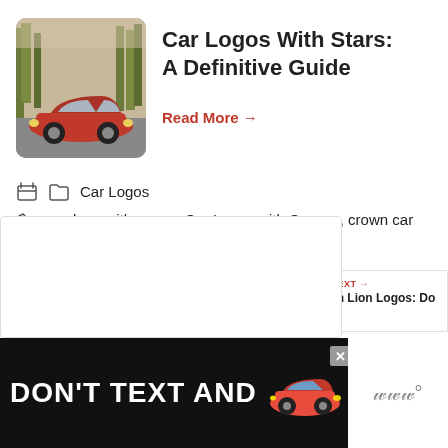[Figure (photo): Red sports car (Mercedes-AMG) on a road with autumn forest background]
Car Logos With Stars: A Definitive Guide
Read More →
Car Logos
car logo with crown, Car Logos with Crowns, crown car logos, logos with crown
< Car Brands that Start with E
> 5 Car Logos with Snakes and Their Meaning
[Figure (photo): WHAT'S NEXT → Cars with Lion Logos: Do Y…]
[Figure (advertisement): DON'T TEXT AND [car image] — NHTSA public service advertisement banner]